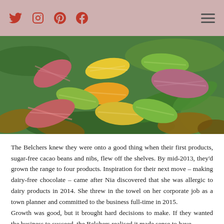Social media icons (Twitter, Instagram, Pinterest, Facebook) and hamburger menu
[Figure (photo): Colorful cacao pods in various shades of red, yellow, green, and purple arranged on green leaves and dried brown leaves]
The Belchers knew they were onto a good thing when their first products, sugar-free cacao beans and nibs, flew off the shelves. By mid-2013, they'd grown the range to four products. Inspiration for their next move – making dairy-free chocolate – came after Nia discovered that she was allergic to dairy products in 2014. She threw in the towel on her corporate job as a town planner and committed to the business full-time in 2015.
Growth was good, but it brought hard decisions to make. If they wanted the business to succeed, the Belchers realised it made sense to have